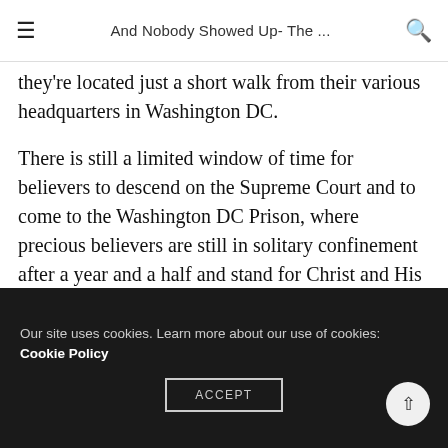And Nobody Showed Up- The ...
they're located just a short walk from their various headquarters in Washington DC.
There is still a limited window of time for believers to descend on the Supreme Court and to come to the Washington DC Prison, where precious believers are still in solitary confinement after a year and a half and stand for Christ and His Kingdom. Believers may contact chaplainofcapitolhill@gmail.com to receive information...
Our site uses cookies. Learn more about our use of cookies: Cookie Policy